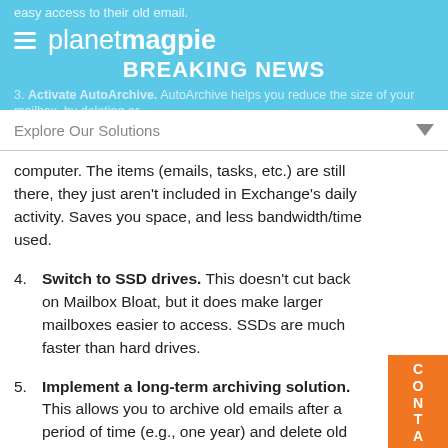easy access to their old email.
planetmagpie
BREAKING NEWS
3. Activate AutoArchive. AutoArchive helps you reduce the size of your mailbox, by deleting or
Explore Our Solutions
computer. The items (emails, tasks, etc.) are still there, they just aren't included in Exchange's daily activity. Saves you space, and less bandwidth/time used.
4. Switch to SSD drives. This doesn't cut back on Mailbox Bloat, but it does make larger mailboxes easier to access. SSDs are much faster than hard drives.
5. Implement a long-term archiving solution. This allows you to archive old emails after a period of time (e.g., one year) and delete old emails from